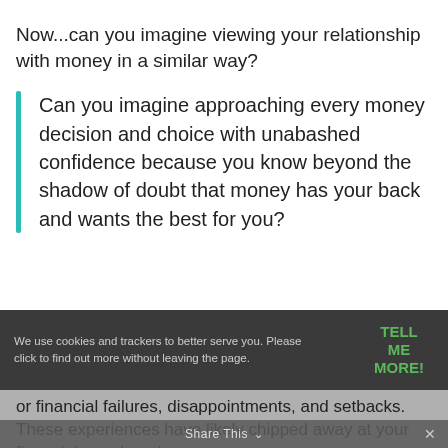Now...can you imagine viewing your relationship with money in a similar way?
Can you imagine approaching every money decision and choice with unabashed confidence because you know beyond the shadow of doubt that money has your back and wants the best for you?
We use cookies and trackers to better serve you. Please click to find out more without leaving the page.   TELL ME MORE!
or financial failures, disappointments, and setbacks. These experiences have likely chipped away at your financial spunk and
Share This